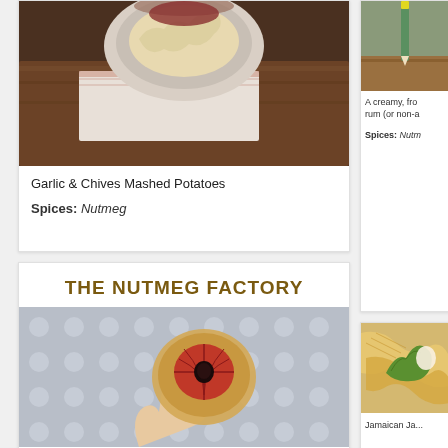[Figure (photo): Food photo of mashed potatoes dish on wooden board with folded cloth napkin]
Garlic & Chives Mashed Potatoes
Spices: Nutmeg
[Figure (photo): Partial food photo on right side top, green herb or vegetable on wooden surface]
A creamy, fro... rum (or non-a...
Spices: Nutm...
THE NUTMEG FACTORY
[Figure (photo): Close-up photo of a hand holding a cut nutmeg fruit showing the red mace and dark seed inside, on a grey polka dot background]
[Figure (photo): Partial photo on right side bottom showing chips/crisps with lettuce garnish, Jamaican recipe]
Jamaican Ja...